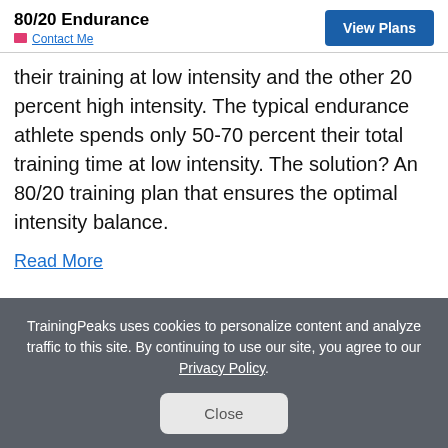80/20 Endurance
Contact Me
their training at low intensity and the other 20 percent high intensity. The typical endurance athlete spends only 50-70 percent their total training time at low intensity. The solution? An 80/20 training plan that ensures the optimal intensity balance.
Read More
TrainingPeaks uses cookies to personalize content and analyze traffic to this site. By continuing to use our site, you agree to our Privacy Policy.
Close